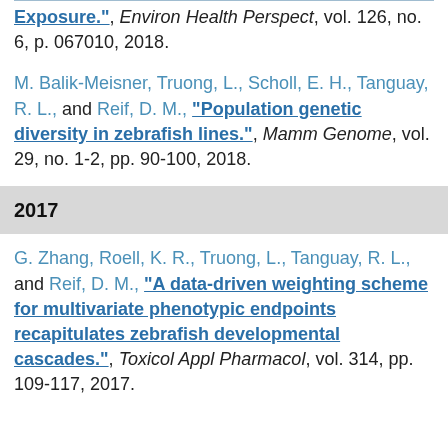Exposure.", Environ Health Perspect, vol. 126, no. 6, p. 067010, 2018.
M. Balik-Meisner, Truong, L., Scholl, E. H., Tanguay, R. L., and Reif, D. M., "Population genetic diversity in zebrafish lines.", Mamm Genome, vol. 29, no. 1-2, pp. 90-100, 2018.
2017
G. Zhang, Roell, K. R., Truong, L., Tanguay, R. L., and Reif, D. M., "A data-driven weighting scheme for multivariate phenotypic endpoints recapitulates zebrafish developmental cascades.", Toxicol Appl Pharmacol, vol. 314, pp. 109-117, 2017.